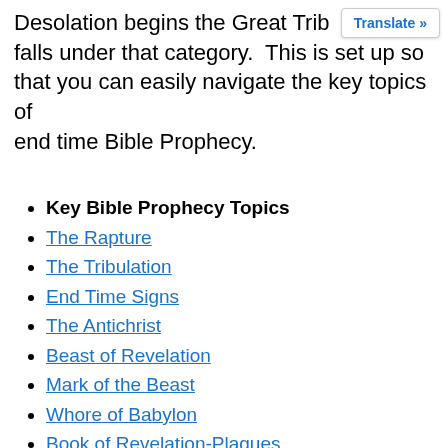Desolation begins the Great Trib falls under that category.  This is set up so that you can easily navigate the key topics of end time Bible Prophecy.
Key Bible Prophecy Topics
The Rapture
The Tribulation
End Time Signs
The Antichrist
Beast of Revelation
Mark of the Beast
Whore of Babylon
Book of Revelation-Plagues
Bible Prophecy Teachers-Best & Worst
Nations in Prophecy
The US in Prophecy